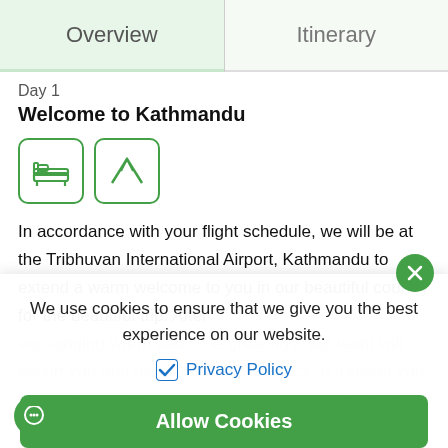Overview | Itinerary
Day 1
Welcome to Kathmandu
[Figure (illustration): Two icons in rounded square boxes: a bed/accommodation icon and a mountain/trekking icon, both outlined in green.]
In accordance with your flight schedule, we will be at the Tribhuvan International Airport, Kathmandu to extend a warm welcome to you in our beautiful country for the beautiful trip. After exchanging warm welcome greetings, our team will escort you and help you with the check-in transfer you to our the hotel for a day at complete leisure to get...the letting
We use cookies to ensure that we give you the best experience on our website.
Privacy Policy
Allow Cookies